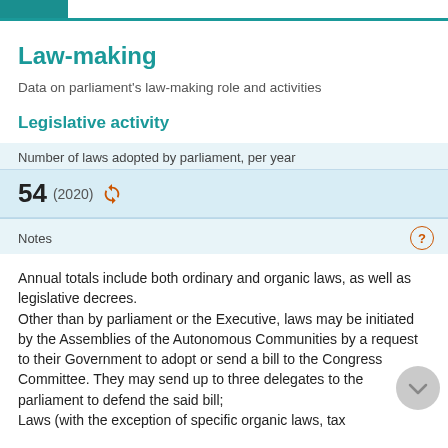Law-making
Data on parliament's law-making role and activities
Legislative activity
Number of laws adopted by parliament, per year
54 (2020)
Notes
Annual totals include both ordinary and organic laws, as well as legislative decrees.
Other than by parliament or the Executive, laws may be initiated by the Assemblies of the Autonomous Communities by a request to their Government to adopt or send a bill to the Congress Committee. They may send up to three delegates to the parliament to defend the said bill;
Laws (with the exception of specific organic laws, tax